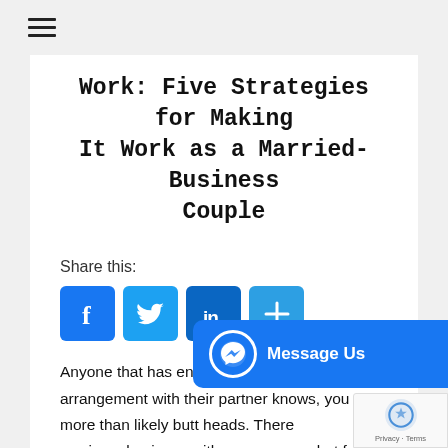[Figure (other): Hamburger menu icon (three horizontal lines)]
Work: Five Strategies for Making It Work as a Married-Business Couple
Share this:
[Figure (other): Social media sharing buttons: Facebook, Twitter, LinkedIn, and a plus/more button]
Anyone that has entered into a business arrangement with their partner knows, you will more than likely butt heads. There [is a risk to] owning a business with your spouse, but for those of you who are already committed to taking the plunge, here are 5 strategies for making it work as a
[Figure (other): Facebook Messenger 'Message Us' chat button overlay]
[Figure (other): Google reCAPTCHA badge overlay]